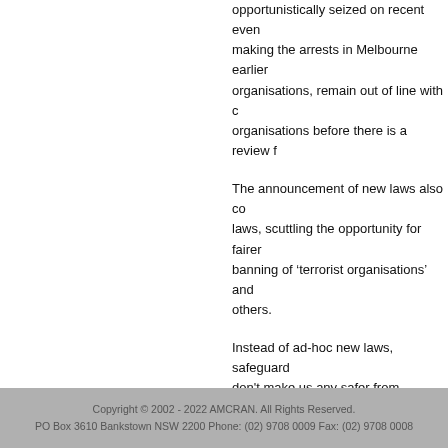opportunistically seized on recent even making the arrests in Melbourne earlier organisations, remain out of line with c organisations before there is a review f
The announcement of new laws also c laws, scuttling the opportunity for fairer banning of 'terrorist organisations' and others.
Instead of ad-hoc new laws, safeguard don't make us any safer from violence - continue to entrench Muslims especial
Zachariah Matthews, Board Member of th
City Hub, 20 August 2009
Copyright © 2002 - 2022 AMCRAN. All Rights Reserved.
PO Box 3610 Bankstown NSW 2200 Phone: (02) 9708 0009 Fax: (02) 9708 0008